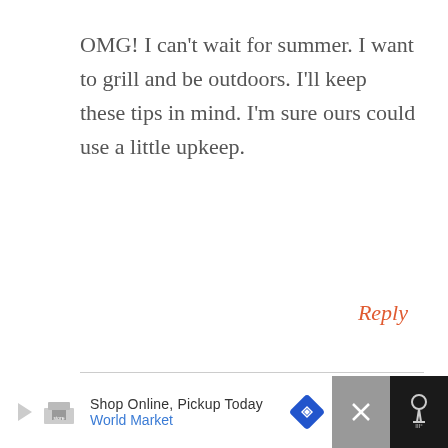OMG! I can't wait for summer. I want to grill and be outdoors. I'll keep these tips in mind. I'm sure ours could use a little upkeep.
Reply
VALMG
AUGUST 27, 2018 AT 2:32 PM
[Figure (screenshot): Ad banner: Shop Online, Pickup Today - World Market with navigation arrow icon and close button]